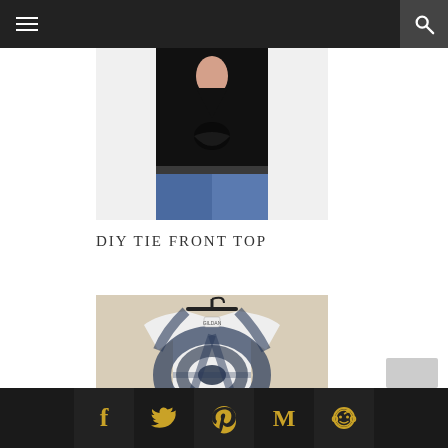Navigation bar with hamburger menu and search icon
[Figure (photo): Person wearing a black tie front long-sleeve top with blue jeans, cropped at torso]
DIY TIE FRONT TOP
[Figure (photo): Tie-dye t-shirt in dark navy and white swirl pattern on a black hanger]
Social share bar with Facebook, Twitter, Pinterest, Mail (Gmail), and Reddit icons